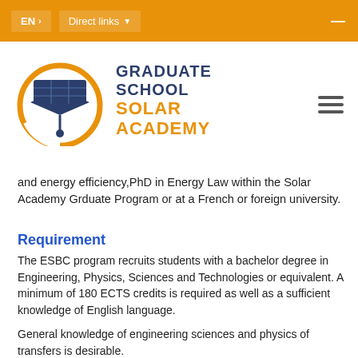EN  >  Direct links  ▼
[Figure (logo): Graduate School Solar Academy logo with graduation cap and solar panel icon inside a gold circle, next to text reading GRADUATE SCHOOL SOLAR ACADEMY]
and energy efficiency,PhD in Energy Law within the Solar Academy Grduate Program or at a French or foreign university.
Requirement
The ESBC program recruits students with a bachelor degree in Engineering, Physics, Sciences and Technologies or equivalent. A minimum of 180 ECTS credits is required as well as a sufficient knowledge of English language.
General knowledge of engineering sciences and physics of transfers is desirable.